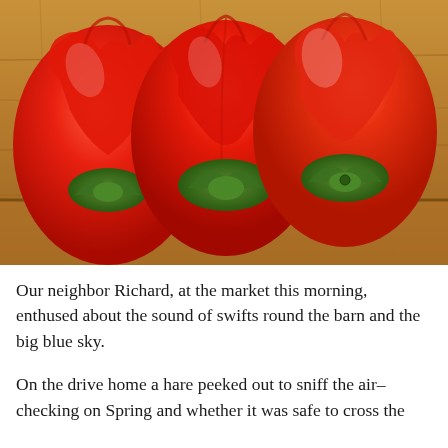[Figure (photo): Three red bell peppers placed upside-down on a wooden cutting board, showing their green stems/calyxes, viewed from above.]
Our neighbor Richard, at the market this morning, enthused about the sound of swifts round the barn and the big blue sky.
On the drive home a hare peeked out to sniff the air– checking on Spring and whether it was safe to cross the